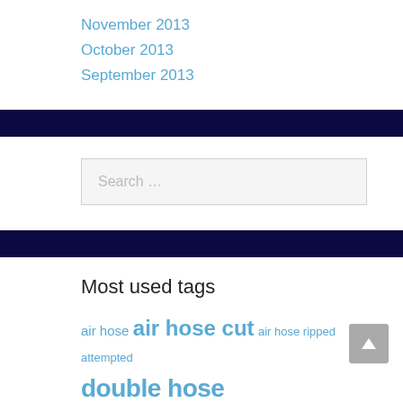November 2013
October 2013
September 2013
Search ...
Most used tags
air hose air hose cut air hose ripped attempted double hose